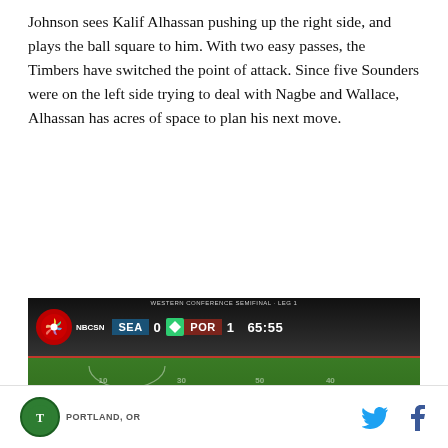Johnson sees Kalif Alhassan pushing up the right side, and plays the ball square to him. With two easy passes, the Timbers have switched the point of attack. Since five Sounders were on the left side trying to deal with Nagbe and Wallace, Alhassan has acres of space to plan his next move.
[Figure (screenshot): Television broadcast screenshot of a soccer match between Seattle Sounders (SEA 0) and Portland Timbers (POR 1) at 65:55, showing an aerial view of the field with players in green (Timbers) and white (Sounders) jerseys. NBCSN broadcast. Scoreboard reads WESTERN CONFERENCE SEMIFINAL - LEG 1. Advertising boards show 'GRAB SOME BUDS'. XBOX PITCH visible on sideboard.]
PORTLAND, OR